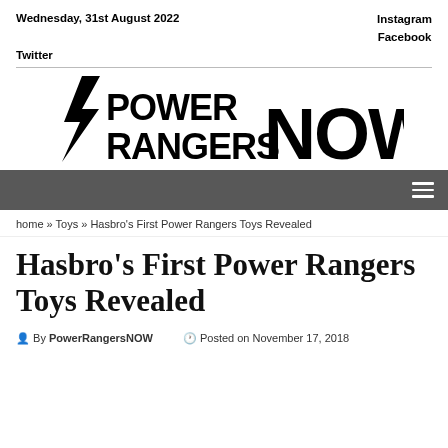Wednesday, 31st August 2022   Instagram   Facebook   Twitter
[Figure (logo): Power Rangers NOW logo with lightning bolt graphic]
home » Toys » Hasbro's First Power Rangers Toys Revealed
Hasbro's First Power Rangers Toys Revealed
By PowerRangersNOW   Posted on November 17, 2018